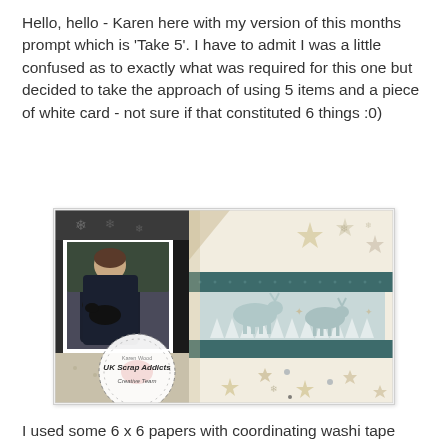Hello, hello - Karen here with my version of this months prompt which is 'Take 5'.  I have to admit I was a little confused as to exactly what was required for this one but decided to take the approach of using 5 items and a piece of white card - not sure if that constituted 6 things :0)
[Figure (photo): A scrapbook layout page showing a photo of a woman holding a black dog, with winter/Christmas themed decorative papers featuring reindeer, stars, snowflakes, and a teal washi tape stripe. A circular UK Scrap Addicts Creative Team watermark is visible in the lower left of the layout.]
I used some 6 x 6 papers with coordinating washi tape